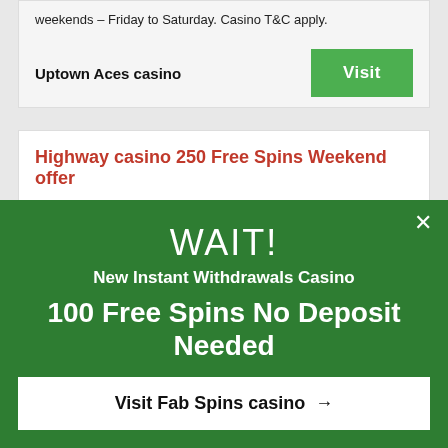weekends – Friday to Saturday. Casino T&C apply.
Uptown Aces casino
Visit
Highway casino 250 Free Spins Weekend offer
[Figure (logo): Highway casino logo on purple background with pink circle and stylized text HIGHWAY]
WAIT!
New Instant Withdrawals Casino
100 Free Spins No Deposit Needed
Visit Fab Spins casino →